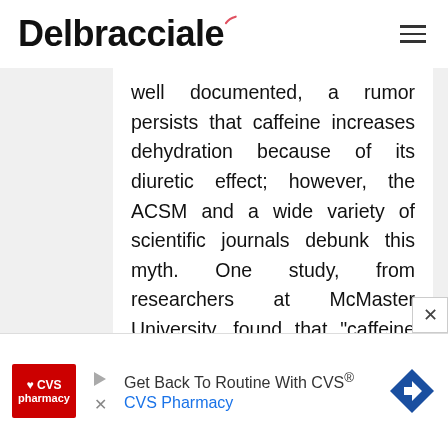Delbracciale
well documented, a rumor persists that caffeine increases dehydration because of its diuretic effect; however, the ACSM and a wide variety of scientific journals debunk this myth. One study, from researchers at McMaster University, found that "caffeine ingestionвт¦ does not seem to disturb body fluid balance" despite the researchers' collective belief that it would. So, while sweating profusely during exercise may indicate a need to hydrate with water or an electrolyte sports
[Figure (other): CVS Pharmacy advertisement banner: Get Back To Routine With CVS® CVS Pharmacy, with CVS red logo and blue navigation arrow icon]